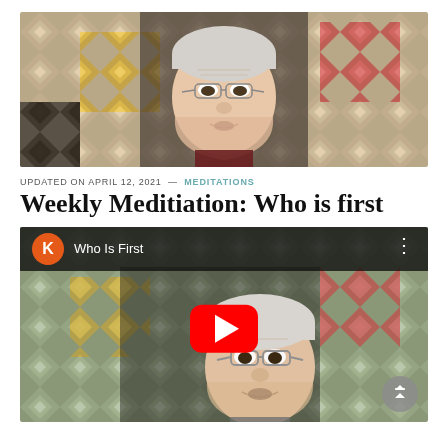[Figure (photo): Elderly man with glasses speaking, seated in front of a colorful patchwork quilt background]
UPDATED ON APRIL 12, 2021 — MEDITATIONS
Weekly Meditiation: Who is first
[Figure (screenshot): YouTube video embed titled 'Who Is First' showing elderly man with glasses in front of quilt background, with red YouTube play button overlay and channel avatar 'K']